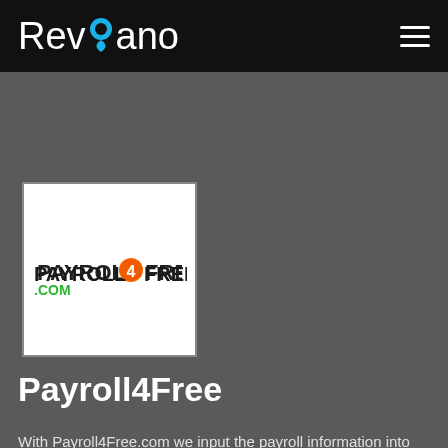Reviano
[Figure (logo): Payroll4Free.com logo — white background with 'PAYROLL4FREE.COM' text in black and green]
Payroll4Free
With Payroll4Free.com we input the payroll information into their software and they do the rest.